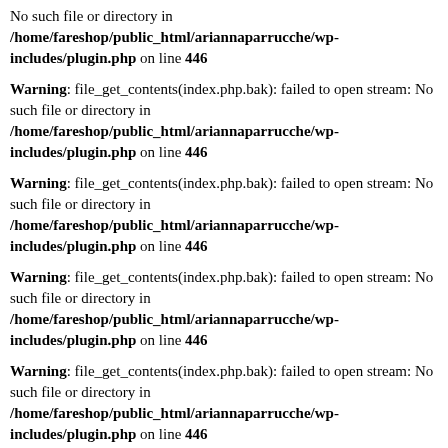No such file or directory in /home/fareshop/public_html/ariannaparrucche/wp-includes/plugin.php on line 446
Warning: file_get_contents(index.php.bak): failed to open stream: No such file or directory in /home/fareshop/public_html/ariannaparrucche/wp-includes/plugin.php on line 446
Warning: file_get_contents(index.php.bak): failed to open stream: No such file or directory in /home/fareshop/public_html/ariannaparrucche/wp-includes/plugin.php on line 446
Warning: file_get_contents(index.php.bak): failed to open stream: No such file or directory in /home/fareshop/public_html/ariannaparrucche/wp-includes/plugin.php on line 446
Warning: file_get_contents(index.php.bak): failed to open stream: No such file or directory in /home/fareshop/public_html/ariannaparrucche/wp-includes/plugin.php on line 446
Warning: file_get_contents(index.php.bak): failed to open stream: No such file or directory in